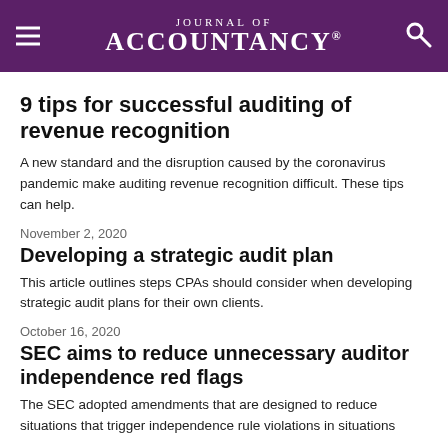Journal of Accountancy
9 tips for successful auditing of revenue recognition
A new standard and the disruption caused by the coronavirus pandemic make auditing revenue recognition difficult. These tips can help.
November 2, 2020
Developing a strategic audit plan
This article outlines steps CPAs should consider when developing strategic audit plans for their own clients.
October 16, 2020
SEC aims to reduce unnecessary auditor independence red flags
The SEC adopted amendments that are designed to reduce situations that trigger independence rule violations in situations